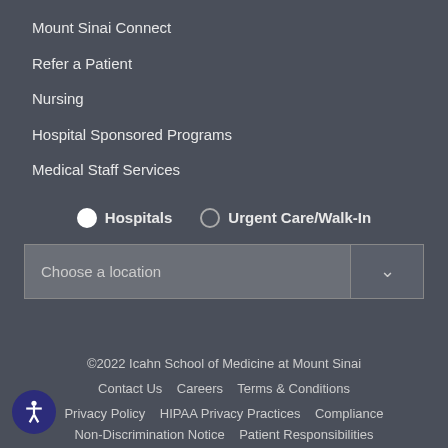Mount Sinai Connect
Refer a Patient
Nursing
Hospital Sponsored Programs
Medical Staff Services
Hospitals (selected) | Urgent Care/Walk-In
Choose a location
©2022 Icahn School of Medicine at Mount Sinai
Contact Us   Careers   Terms & Conditions
Privacy Policy   HIPAA Privacy Practices   Compliance
Non-Discrimination Notice   Patient Responsibilities